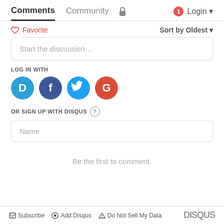Comments  Community  Login
♡ Favorite    Sort by Oldest ▾
Start the discussion…
LOG IN WITH
[Figure (logo): Social login icons: Disqus (blue D), Facebook (blue f), Twitter (blue bird), Google (red G)]
OR SIGN UP WITH DISQUS ?
Name
Be the first to comment.
✉ Subscribe  ⬤ Add Disqus  ▲ Do Not Sell My Data    DISQUS